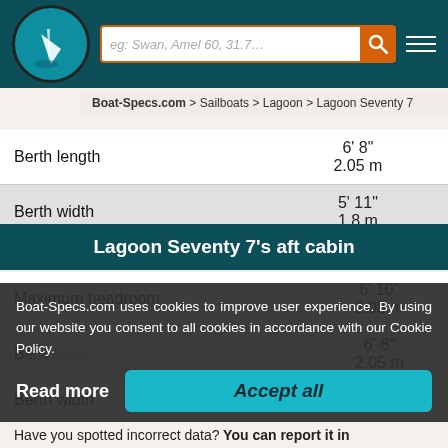eg: Swan, Amel 60, 31.7... [search]
Boat-Specs.com > Sailboats > Lagoon > Lagoon Seventy 7
| Spec | Value |
| --- | --- |
| Berth length | 6'8"
2.05 m |
| Berth width | 5' 11"
1.8 m |
Lagoon Seventy 7's aft cabin
| Spec | Value |
| --- | --- |
| Maximum headroom | 6' 10"
2.08 m |
| Berth length | 6'8"
2.05 m |
| Berth width | 5' 2"
 |
Boat-Specs.com uses cookies to improve user experience. By using our website you consent to all cookies in accordance with our Cookie Policy.
Read more
Accept all
Have you spotted incorrect data? You can report it in